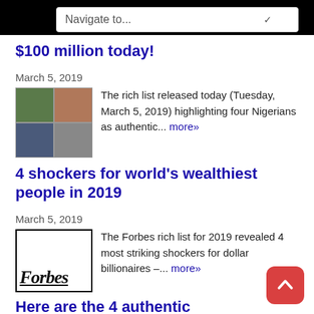Navigate to...
$100 million today!
March 5, 2019
The rich list released today (Tuesday, March 5, 2019) highlighting four Nigerians as authentic... more»
4 shockers for world's wealthiest people in 2019
March 5, 2019
[Figure (logo): Forbes logo thumbnail]
The Forbes rich list for 2019 revealed 4 most striking shockers for dollar billionaires –... more»
Here are the 4 authentic